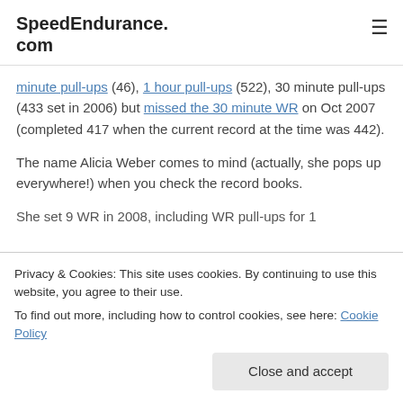SpeedEndurance.com
minute pull-ups (46), 1 hour pull-ups (522), 30 minute pull-ups (433 set in 2006) but missed the 30 minute WR on Oct 2007 (completed 417 when the current record at the time was 442).
The name Alicia Weber comes to mind (actually, she pops up everywhere!) when you check the record books.
She set 9 WR in 2008, including WR pull-ups for 1
Privacy & Cookies: This site uses cookies. By continuing to use this website, you agree to their use.
To find out more, including how to control cookies, see here: Cookie Policy